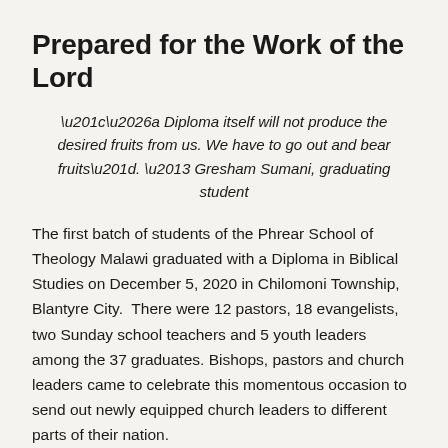Prepared for the Work of the Lord
“…a Diploma itself will not produce the desired fruits from us. We have to go out and bear fruits”. – Gresham Sumani, graduating student
The first batch of students of the Phrear School of Theology Malawi graduated with a Diploma in Biblical Studies on December 5, 2020 in Chilomoni Township, Blantyre City.  There were 12 pastors, 18 evangelists, two Sunday school teachers and 5 youth leaders among the 37 graduates. Bishops, pastors and church leaders came to celebrate this momentous occasion to send out newly equipped church leaders to different parts of their nation.